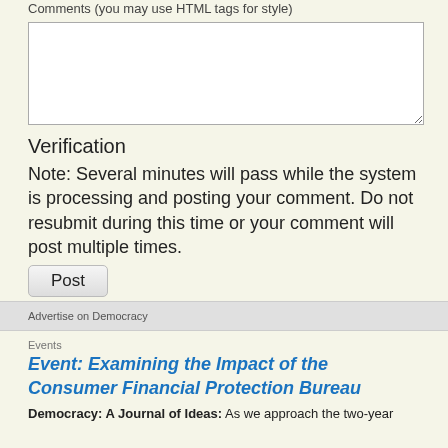Comments (you may use HTML tags for style)
[Figure (other): A large text area input box for entering comments]
Verification
Note: Several minutes will pass while the system is processing and posting your comment. Do not resubmit during this time or your comment will post multiple times.
[Figure (other): A Post button for submitting the comment form]
Advertise on Democracy
Events
Event: Examining the Impact of the Consumer Financial Protection Bureau
Democracy: A Journal of Ideas: As we approach the two-year